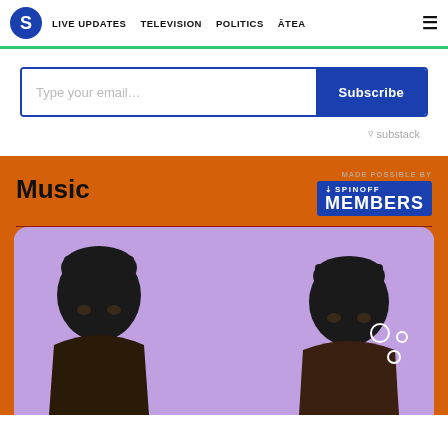S | LIVE UPDATES | TELEVISION | POLITICS | ĀTEA | ☰
[Figure (screenshot): Email subscription widget with text input 'Type your email...' and blue 'Subscribe' button, with Substack branding below]
Music
[Figure (photo): Two people wearing black beanies photographed against a purple/lavender scalloped background on an orange section. 'Made possible by The Spinoff Members' badge in top right.]